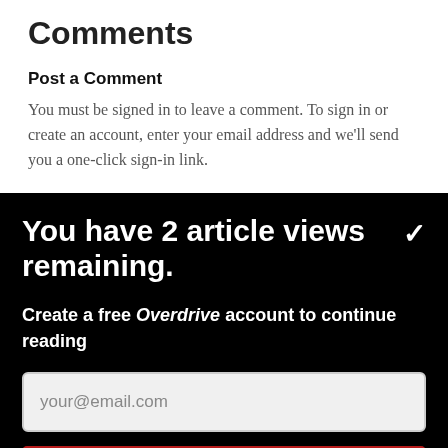Comments
Post a Comment
You must be signed in to leave a comment. To sign in or create an account, enter your email address and we'll send you a one-click sign-in link.
You have 2 article views remaining.
Create a free Overdrive account to continue reading
your@email.com
CONTINUE